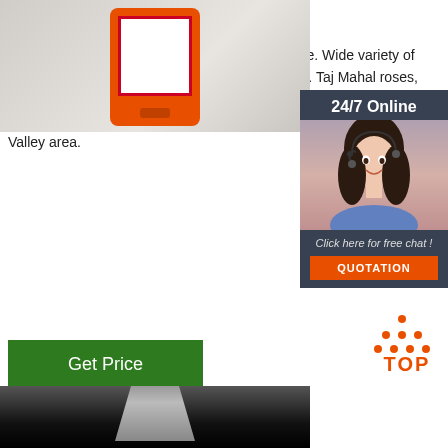[Figure (photo): Photo of an orange-framed tablet or picture frame on a grey background]
[Figure (photo): 24/7 Online support widget showing a smiling woman with headset, with 'Click here for free chat!' text and QUOTATION button]
Roses Malaysia
Floristika offers fresh cut roses at wholesale price. Wide variety of roses in popular dark red, pink, or muted colours. Taj Mahal roses, locally grown roses, Floristika has it all. Delivery available with Valley area.
[Figure (illustration): Get Price green button]
[Figure (logo): TOP logo in orange with dot-triangle graphic]
[Figure (photo): Dark background photo strip at bottom, appears to show a grey pointed object]